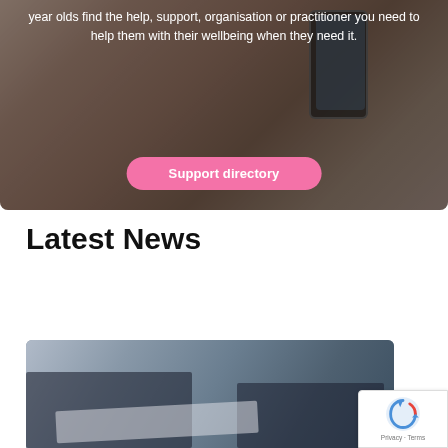[Figure (photo): Person holding a smartphone, partially visible with dark overlay background]
year olds find the help, support, organisation or practitioner you need to help them with their wellbeing when they need it.
Support directory
Latest News
[Figure (photo): Two people in business attire handling documents, close-up of hands]